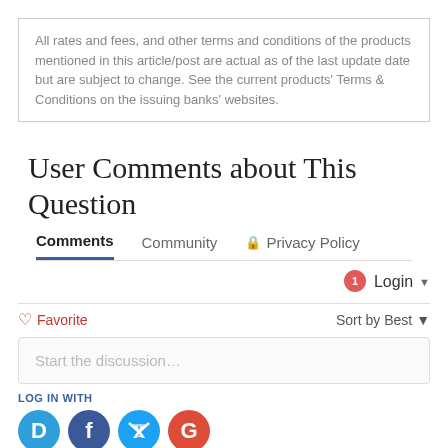All rates and fees, and other terms and conditions of the products mentioned in this article/post are actual as of the last update date but are subject to change. See the current products' Terms & Conditions on the issuing banks' websites.
User Comments about This Question
Comments  Community  Privacy Policy
Login
Favorite  Sort by Best
Start the discussion...
LOG IN WITH